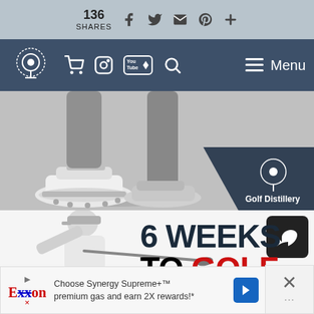136 SHARES  [Facebook] [Twitter] [Email] [Pinterest] [Plus]
Golf Distillery — [Cart] [Instagram] [YouTube] [Search] — Menu
[Figure (photo): Golf shoes close-up, two golfers' feet and lower legs visible, black and white image. Golf Distillery logo badge in lower right corner.]
[Figure (photo): Golfer mid-swing, black and white photo. Text overlay reads '6 WEEKS TO GOLF' in large bold font, GOLF in red. Dark share/reply button in upper right.]
[Figure (infographic): Exxon advertisement: 'Choose Synergy Supreme+™ premium gas and earn 2X rewards!*']